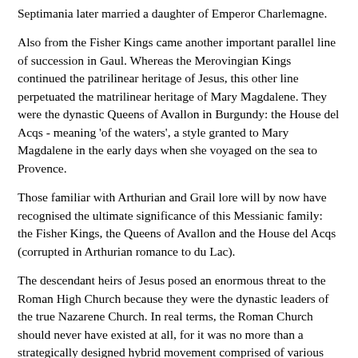Septimania later married a daughter of Emperor Charlemagne.
Also from the Fisher Kings came another important parallel line of succession in Gaul. Whereas the Merovingian Kings continued the patrilinear heritage of Jesus, this other line perpetuated the matrilinear heritage of Mary Magdalene. They were the dynastic Queens of Avallon in Burgundy: the House del Acqs - meaning 'of the waters', a style granted to Mary Magdalene in the early days when she voyaged on the sea to Provence.
Those familiar with Arthurian and Grail lore will by now have recognised the ultimate significance of this Messianic family: the Fisher Kings, the Queens of Avallon and the House del Acqs (corrupted in Arthurian romance to du Lac).
The descendant heirs of Jesus posed an enormous threat to the Roman High Church because they were the dynastic leaders of the true Nazarene Church. In real terms, the Roman Church should never have existed at all, for it was no more than a strategically designed hybrid movement comprised of various